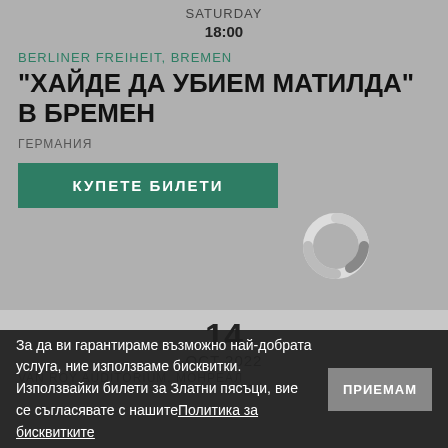SATURDAY
18:00
BERLINER FREIHEIT, BREMEN
"ХАЙДЕ ДА УБИЕМ МАТИЛДА" В БРЕМЕН
ГЕРМАНИЯ
КУПЕТЕ БИЛЕТИ
[Figure (infographic): Loading spinner / activity indicator]
14
OCT 2022
VAN ROY AUDITORIUM, МОНРЕАЛ
За да ви гарантираме възможно най-добрата услуга, ние използваме бисквитки. Използвайки билети за Златни пясъци, вие се съгласявате с нашите Политика за бисквитките
ПРИЕМАМ